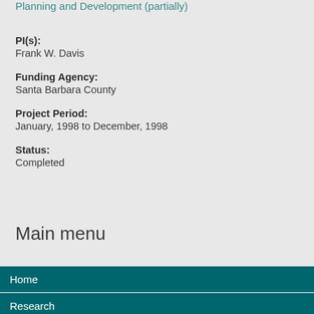Planning and Development (partially)
PI(s):
Frank W. Davis
Funding Agency:
Santa Barbara County
Project Period:
January, 1998 to December, 1998
Status:
Completed
Main menu
Home
Research